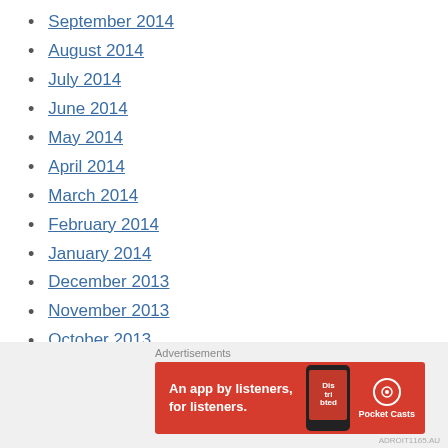September 2014
August 2014
July 2014
June 2014
May 2014
April 2014
March 2014
February 2014
January 2014
December 2013
November 2013
October 2013
September 2013
August 2013
Advertisements
[Figure (other): Pocket Casts advertisement banner: An app by listeners, for listeners.]